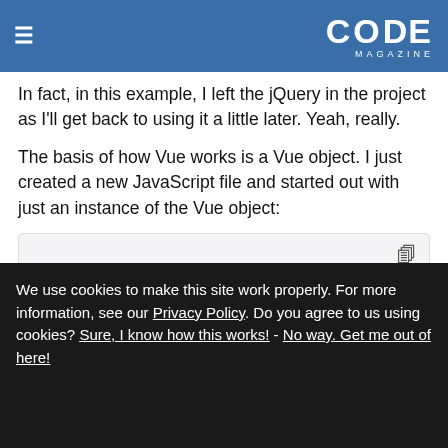CODE MAGAZINE
In fact, in this example, I left the jQuery in the project as I'll get back to using it a little later. Yeah, really.
The basis of how Vue works is a Vue object. I just created a new JavaScript file and started out with just an instance of the Vue object:
[Figure (screenshot): Code block showing: var app = new Vue({ el: "#w" });]
We use cookies to make this site work properly. For more information, see our Privacy Policy. Do you agree to us using cookies? Sure, I know how this works! - No way. Get me out of here!